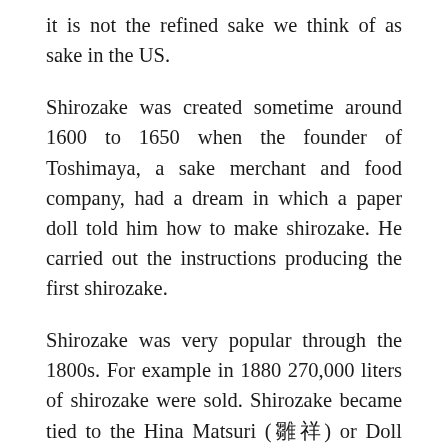it is not the refined sake we think of as sake in the US.
Shirozake was created sometime around 1600 to 1650 when the founder of Toshimaya, a sake merchant and food company, had a dream in which a paper doll told him how to make shirozake. He carried out the instructions producing the first shirozake.
Shirozake was very popular through the 1800s. For example in 1880 270,000 liters of shirozake were sold. Shirozake became tied to the Hina Matsuri (雛祭り) or Doll festival (March 3rd) where it is mostly drunk by women. In order to meet these high demands, Toshimaya would focus